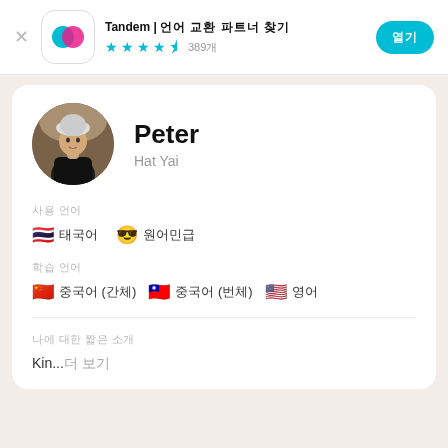Tandem | 언어 교환 파트너 찾기  ★★★★½ 389개
Peter
Hat Yai
사용 언어
🇹🇭 태국어  😎 원어민급
학습 언어
🇨🇳 중국어 (간체)  🇹🇼 중국어 (번체)  🇺🇸 영어
나에 대한 짧은 소개
Kin...더 보기